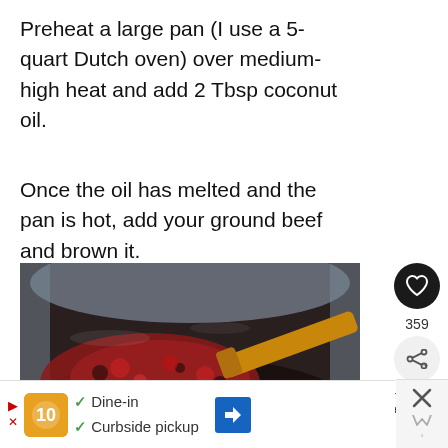Preheat a large pan (I use a 5-quart Dutch oven) over medium-high heat and add 2 Tbsp coconut oil.
Once the oil has melted and the pan is hot, add your ground beef and brown it.
[Figure (photo): Photo of ground beef browning in a large stainless steel pan/Dutch oven with a wooden spoon, watermark reading 'Simply']
359
WHAT'S NEXT → The Best Keto Bacon...
✓ Dine-in  ✓ Curbside pickup